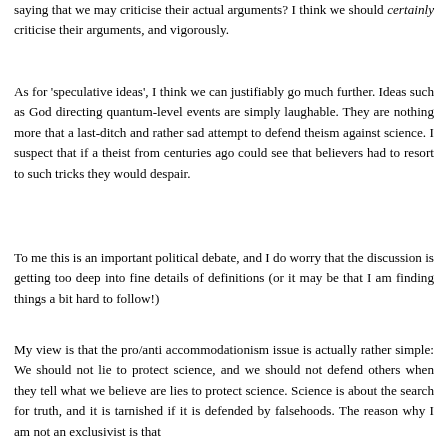saying that we may criticise their actual arguments? I think we should certainly criticise their arguments, and vigorously.
As for 'speculative ideas', I think we can justifiably go much further. Ideas such as God directing quantum-level events are simply laughable. They are nothing more that a last-ditch and rather sad attempt to defend theism against science. I suspect that if a theist from centuries ago could see that believers had to resort to such tricks they would despair.
To me this is an important political debate, and I do worry that the discussion is getting too deep into fine details of definitions (or it may be that I am finding things a bit hard to follow!)
My view is that the pro/anti accommodationism issue is actually rather simple: We should not lie to protect science, and we should not defend others when they tell what we believe are lies to protect science. Science is about the search for truth, and it is tarnished if it is defended by falsehoods. The reason why I am not an exclusivist is that